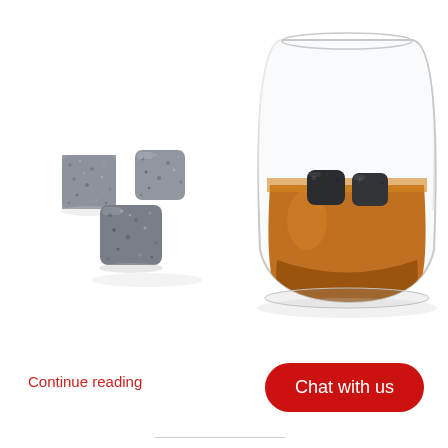[Figure (photo): Three grey granite whisky chilling stones (soapstone cubes) on the left, and a clear tumbler glass filled with amber whisky/bourbon with two dark stone cubes inside, on a white background.]
Continue reading
Chat with us